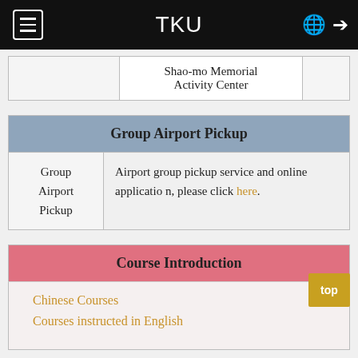TKU
|  | Shao-mo Memorial Activity Center | (...) |
| --- | --- | --- |
|  | Shao-mo Memorial Activity Center |  |
| Group Airport Pickup |  |  |
| --- | --- | --- |
| Group Airport Pickup | Airport group pickup service and online application, please click here. |  |
| Course Introduction |
| --- |
| Chinese Courses |
| Courses instructed in English |
| Regulations |
| --- |